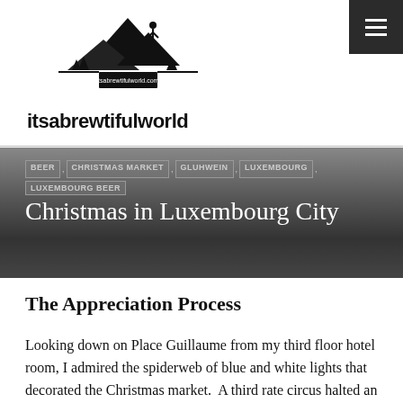itsabrewtifulworld.com
itsabrewtifulworld
BEER , CHRISTMAS MARKET , GLUHWEIN , LUXEMBOURG , LUXEMBOURG BEER
Christmas in Luxembourg City
The Appreciation Process
Looking down on Place Guillaume from my third floor hotel room, I admired the spiderweb of blue and white lights that decorated the Christmas market.  A third rate circus halted an internationally loved tradition of t...